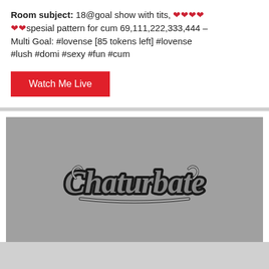Room subject: 18@goal show with tits, ❤❤❤❤❤❤spesial pattern for cum 69,111,222,333,444 – Multi Goal: #lovense [85 tokens left] #lovense #lush #domi #sexy #fun #cum
Watch Me Live
[Figure (screenshot): Chaturbate logo on a grey video placeholder background]